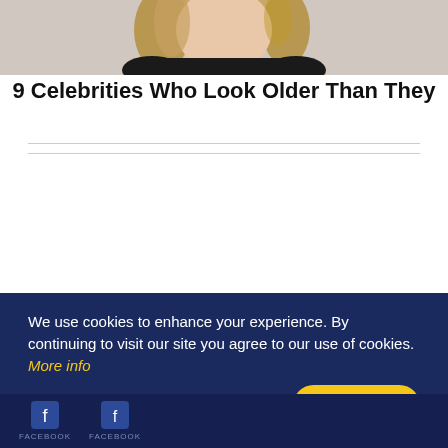[Figure (photo): Top portion of a blonde woman in dark clothing, cropped at mid-torso, light/grey background — celebrity photo]
9 Celebrities Who Look Older Than They
ADVERTISEMENT
We use cookies to enhance your experience. By continuing to visit our site you agree to our use of cookies. More info
Agree